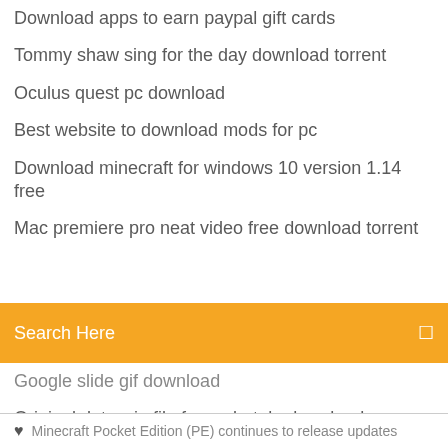Download apps to earn paypal gift cards
Tommy shaw sing for the day download torrent
Oculus quest pc download
Best website to download mods for pc
Download minecraft for windows 10 version 1.14 free
Mac premiere pro neat video free download torrent
[Figure (screenshot): Orange search bar with placeholder text 'Search Here' and a search icon on the right]
Google slide gif download
Original data win file for undertale download
How to change the downloads folder in android
Download music converter free youtube
Android download video from url reddit
How to download torrents with psiphon
Sumatra pdf download homepage
Chrome no longer showing downloaded files
Minecraft Pocket Edition (PE) continues to release updates